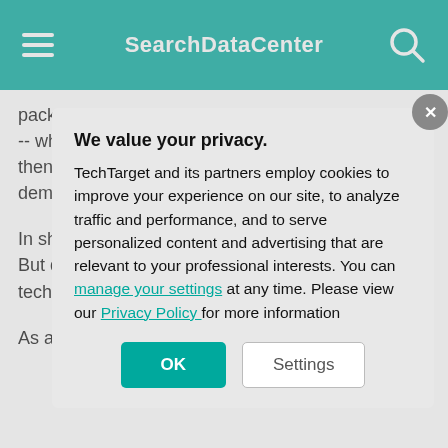SearchDataCenter
packaged into convenient appliances -- or nodes -- which can be deployed singularly to start and then quickly and easily scaled out as resource demands increase.
In short, HCI pro box. If a busines more boxes. But data center. The are easily install HCI technology office/branch offi deployments.
As an example, where petabytes devices. Rather
We value your privacy. TechTarget and its partners employ cookies to improve your experience on our site, to analyze traffic and performance, and to serve personalized content and advertising that are relevant to your professional interests. You can manage your settings at any time. Please view our Privacy Policy for more information